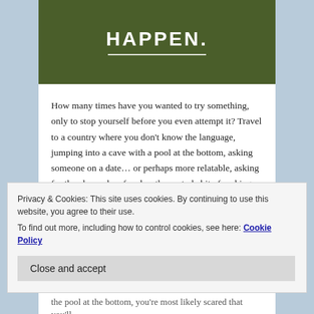[Figure (other): Green banner with large bold white text reading 'HAPPEN.' with a horizontal white line beneath it, on a dark olive green background.]
How many times have you wanted to try something, only to stop yourself before you even attempt it? Travel to a country where you don't know the language, jumping into a cave with a pool at the bottom, asking someone on a date… or perhaps more relatable, asking for the close when fear has the nasty habit of making you say “I can’t do that” before you even attempt it.
Privacy & Cookies: This site uses cookies. By continuing to use this website, you agree to their use.
To find out more, including how to control cookies, see here: Cookie Policy
Close and accept
the pool at the bottom, you're most likely scared that you'll